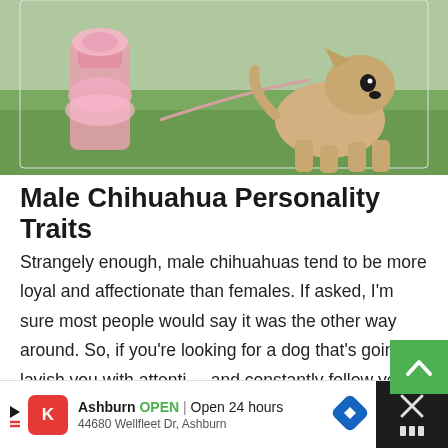[Figure (photo): Photo of chihuahua dogs on grass, one wearing a pink outfit/dress, outdoor setting]
Male Chihuahua Personality Traits
Strangely enough, male chihuahuas tend to be more loyal and affectionate than females. If asked, I'm sure most people would say it was the other way around. So, if you're looking for a dog that's going to lavish you with attention and constantly follow you around the house, maybe consider a male.
[Figure (other): Advertisement bar: Ashburn OPEN | Open 24 hours, 44680 Wellfleet Dr, Ashburn with CK icon and navigation arrow icon]